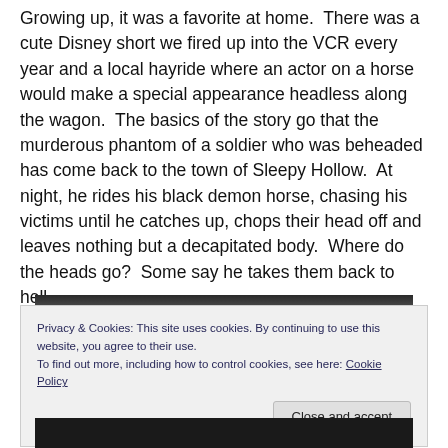Growing up, it was a favorite at home.  There was a cute Disney short we fired up into the VCR every year and a local hayride where an actor on a horse would make a special appearance headless along the wagon.  The basics of the story go that the murderous phantom of a soldier who was beheaded has come back to the town of Sleepy Hollow.  At night, he rides his black demon horse, chasing his victims until he catches up, chops their head off and leaves nothing but a decapitated body.  Where do the heads go?  Some say he takes them back to hell.
[Figure (photo): Partial dark image visible behind cookie consent banner, appears to be a dark/night scene]
Privacy & Cookies: This site uses cookies. By continuing to use this website, you agree to their use.
To find out more, including how to control cookies, see here: Cookie Policy